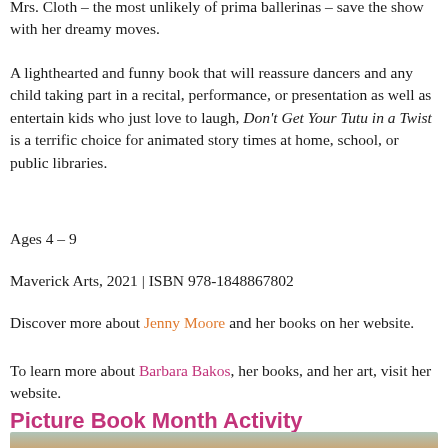Mrs. Cloth – the most unlikely of prima ballerinas – save the show with her dreamy moves.
A lighthearted and funny book that will reassure dancers and any child taking part in a recital, performance, or presentation as well as entertain kids who just love to laugh, Don't Get Your Tutu in a Twist is a terrific choice for animated story times at home, school, or public libraries.
Ages 4 – 9
Maverick Arts, 2021 | ISBN 978-1848867802
Discover more about Jenny Moore and her books on her website.
To learn more about Barbara Bakos, her books, and her art, visit her website.
Picture Book Month Activity
[Figure (photo): Partial view of a photo, likely related to Picture Book Month Activity]